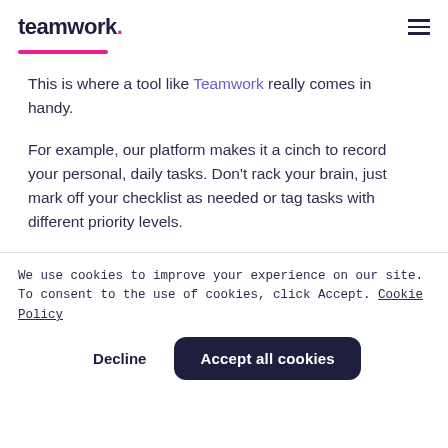teamwork.
This is where a tool like Teamwork really comes in handy.
For example, our platform makes it a cinch to record your personal, daily tasks. Don't rack your brain, just mark off your checklist as needed or tag tasks with different priority levels.
We use cookies to improve your experience on our site. To consent to the use of cookies, click Accept. Cookie Policy
Decline   Accept all cookies